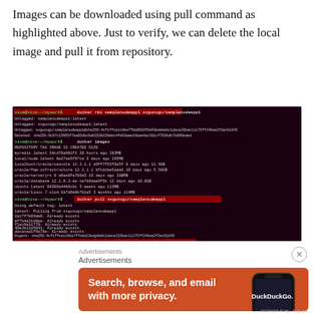Images can be downloaded using pull command as highlighted above. Just to verify, we can delete the local image and pull it from repository.
[Figure (screenshot): Terminal screenshot showing docker rmi and docker pull commands with output listing image layers and confirmation that image was downloaded from svgonugu/samplenodeapp1:latest]
Advertisements
[Figure (infographic): DuckDuckGo advertisement banner with orange background showing 'Search, browse, and email with more privacy. All in One Free App' with a phone graphic and DuckDuckGo logo]